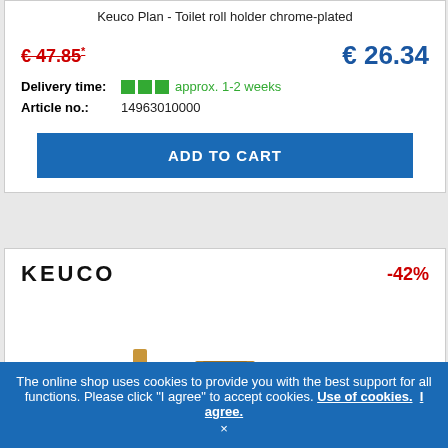Keuco Plan - Toilet roll holder chrome-plated
€ 47.85* (old price, strikethrough) | € 26.34 (new price)
Delivery time: approx. 1-2 weeks
Article no.: 14963010000
ADD TO CART
[Figure (logo): KEUCO brand logo text]
-42%
[Figure (photo): Gold/brass colored toilet roll holder bar product image]
The online shop uses cookies to provide you with the best support for all functions. Please click "I agree" to accept cookies. Use of cookies. I agree.